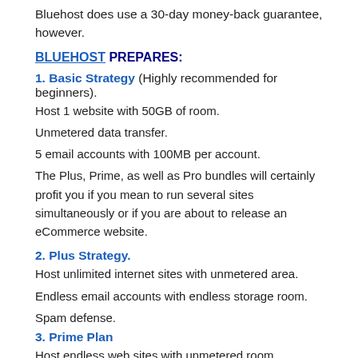Bluehost does use a 30-day money-back guarantee, however.
BLUEHOST PREPARES:
1. Basic Strategy (Highly recommended for beginners).
Host 1 website with 50GB of room.
Unmetered data transfer.
5 email accounts with 100MB per account.
The Plus, Prime, as well as Pro bundles will certainly profit you if you mean to run several sites simultaneously or if you are about to release an eCommerce website.
2. Plus Strategy.
Host unlimited internet sites with unmetered area.
Endless email accounts with endless storage room.
Spam defense.
3. Prime Plan
Host endless web sites with unmetered room.